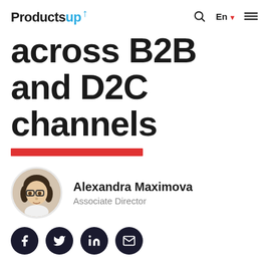Productsup [logo] | search icon | En | menu
across B2B and D2C channels
[Figure (illustration): Red horizontal bar decoration under title]
[Figure (photo): Circular profile photo of Alexandra Maximova, a woman with glasses and dark curly hair]
Alexandra Maximova
Associate Director
[Figure (illustration): Four dark circular social media icons: Facebook, Twitter, LinkedIn, Email]
[Figure (photo): Promotional book covers fanned out showing 'Product content syndication in the age of P2C' in teal/blue color scheme]
Product content syndication in the age of P2C